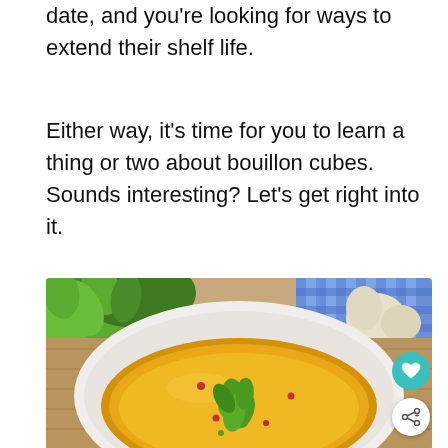date, and you're looking for ways to extend their shelf life.
Either way, it's time for you to learn a thing or two about bouillon cubes. Sounds interesting? Let's get right into it.
[Figure (photo): A white bowl filled with golden broth/bouillon soup, garnished with a fresh green parsley leaf and scattered red peppercorns, with fresh parsley herbs and garlic visible in the background on a wooden surface with a blue checkered cloth.]